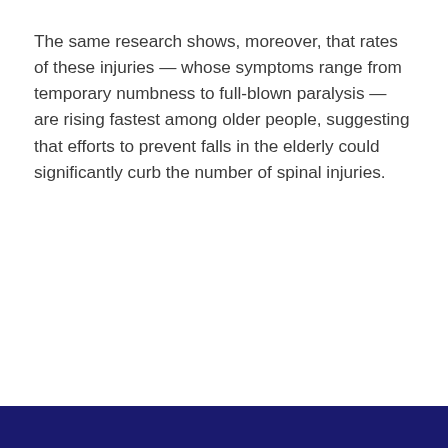The same research shows, moreover, that rates of these injuries — whose symptoms range from temporary numbness to full-blown paralysis — are rising fastest among older people, suggesting that efforts to prevent falls in the elderly could significantly curb the number of spinal injuries.